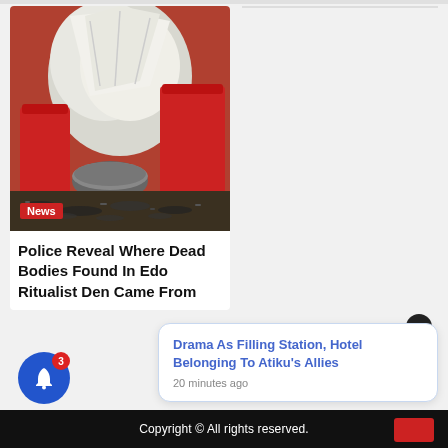[Figure (photo): Photo of a crime scene or ritualist den showing crumpled white material, red containers, a metal bowl, and scattered dark items on the ground]
News
Police Reveal Where Dead Bodies Found In Edo Ritualist Den Came From
Drama As Filling Station, Hotel Belonging To Atiku's Allies
20 minutes ago
Copyright © All rights reserved.